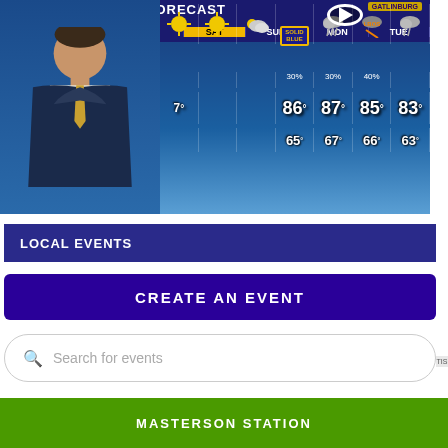[Figure (screenshot): 7 Day Weather Forecast graphic from ABC 8 Storm Team showing a meteorologist and forecast for WE, THU, FRI, SAT, SUN, MON, TUE with temperatures and precipitation percentages. High temps: 7°, 86°, 87°, 85°, 83°. Low temps: 65°, 67°, 66°, 63°. Precipitation: SAT 30%, SUN 30%, MON 40%.]
LOCAL EVENTS
CREATE AN EVENT
Search for events
MASTERSON STATION